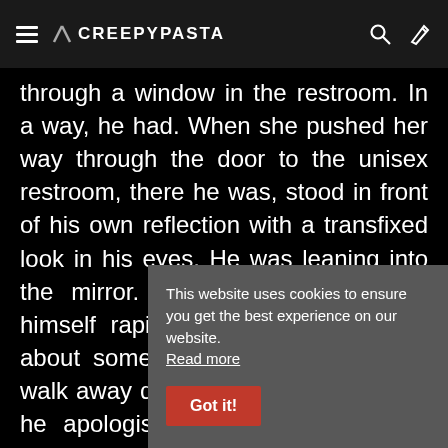CREEPYPASTA
through a window in the restroom. In a way, he had. When she pushed her way through the door to the unisex restroom, there he was, stood in front of his own reflection with a transfixed look in his eyes. He was leaning into the mirror. He was… muttering to himself rapidly. He sounded excited about something. She was about to walk away quietly and at that moment he apologised to her and said he almost found it. All of this without taking his eyes off the mirror.
Ever since that [text obscured by overlay] sought out the m[irror] immediately dro[pped] away.
This website uses cookies to ensure you get the best experience on our website. Read more
Got it!